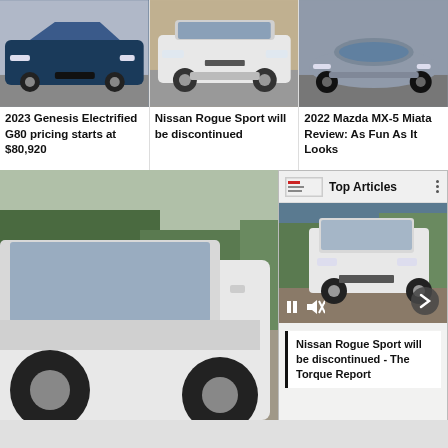[Figure (photo): Front view of dark blue 2023 Genesis Electrified G80 sedan]
2023 Genesis Electrified G80 pricing starts at $80,920
[Figure (photo): Front view of white Nissan Rogue Sport SUV]
Nissan Rogue Sport will be discontinued
[Figure (photo): Front view of gray 2022 Mazda MX-5 Miata]
2022 Mazda MX-5 Miata Review: As Fun As It Looks
[Figure (photo): White Nissan Rogue Sport SUV driving on road, with overlay panel showing Top Articles]
Nissan Rogue Sport will be discontinued - The Torque Report